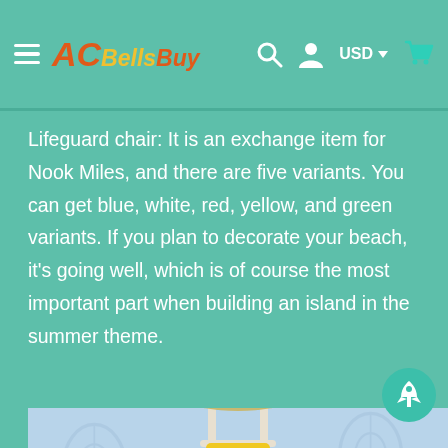ACBellsBuy — USD navigation header
Lifeguard chair: It is an exchange item for Nook Miles, and there are five variants. You can get blue, white, red, yellow, and green variants. If you plan to decorate your beach, it's going well, which is of course the most important part when building an island in the summer theme.
[Figure (photo): Yellow lifeguard chair from Animal Crossing game, shown against a light blue background with shell patterns]